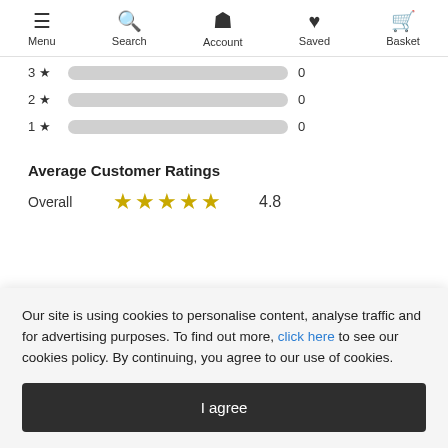Menu | Search | Account | Saved | Basket
3 ★   0
2 ★   0
1 ★   0
Average Customer Ratings
Overall  ★★★★★  4.8
Our site is using cookies to personalise content, analyse traffic and for advertising purposes. To find out more, click here to see our cookies policy. By continuing, you agree to our use of cookies.
I agree